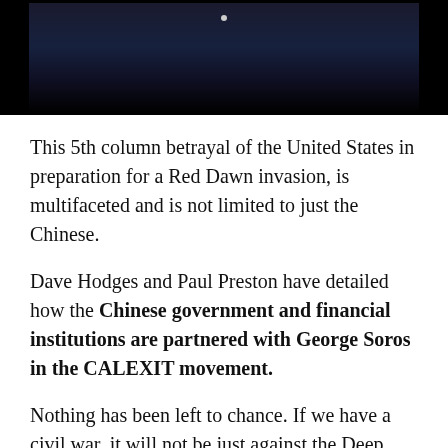[Figure (photo): Dark background image, partially visible, showing a person or scene against a dark/navy background with a small light dot near the top center.]
This 5th column betrayal of the United States in preparation for a Red Dawn invasion, is multifaceted and is not limited to just the Chinese.
Dave Hodges and Paul Preston have detailed how the Chinese government and financial institutions are partnered with George Soros in the CALEXIT movement.
Nothing has been left to chance. If we have a civil war, it will not be just against the Deep State and whatever military assets they control, we will be fighting the Chinese, the Russians and whatever troops